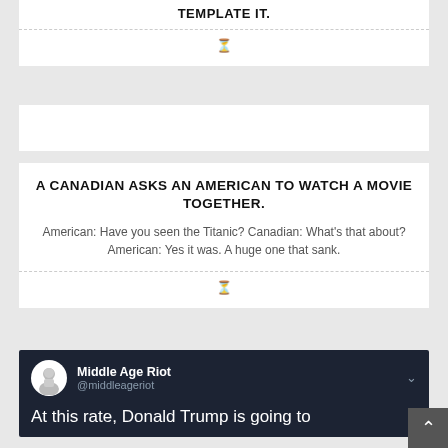TEMPLATE IT.
A CANADIAN ASKS AN AMERICAN TO WATCH A MOVIE TOGETHER.
American: Have you seen the Titanic? Canadian: What's that about? American: Yes it was. A huge one that sank.
[Figure (screenshot): Tweet from Middle Age Riot (@middleageriot) on dark background: 'At this rate, Donald Trump is going to']